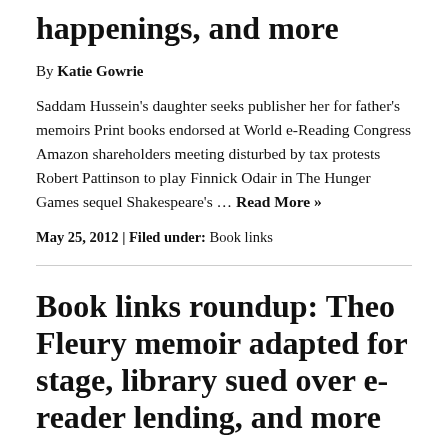happenings, and more
By Katie Gowrie
Saddam Hussein's daughter seeks publisher her for father's memoirs Print books endorsed at World e-Reading Congress Amazon shareholders meeting disturbed by tax protests Robert Pattinson to play Finnick Odair in The Hunger Games sequel Shakespeare's … Read More »
May 25, 2012 | Filed under: Book links
Book links roundup: Theo Fleury memoir adapted for stage, library sued over e-reader lending, and more